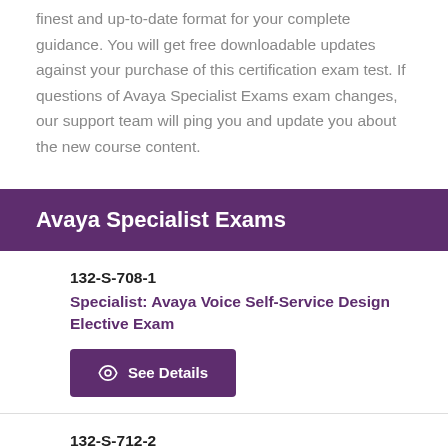finest and up-to-date format for your complete guidance. You will get free downloadable updates against your purchase of this certification exam test. If questions of Avaya Specialist Exams exam changes, our support team will ping you and update you about the new course content.
Avaya Specialist Exams
132-S-708-1
Specialist: Avaya Voice Self-Service Design Elective Exam
132-S-712-2